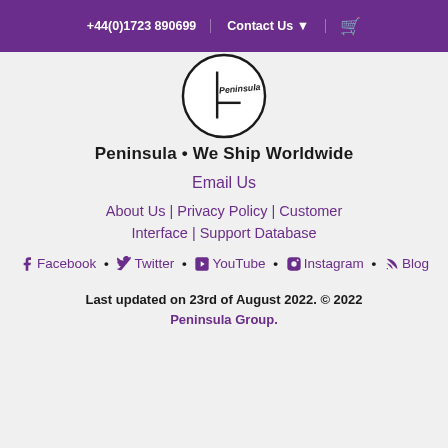+44(0)1723 890699 | Contact Us ▼ | [cart]
[Figure (logo): Peninsula logo — circular logo with handwritten-style text reading 'Peninsula' inside a circle]
Peninsula • We Ship Worldwide
Email Us
About Us | Privacy Policy | Customer Interface | Support Database
Facebook • Twitter • YouTube • Instagram • Blog
Last updated on 23rd of August 2022. © 2022 Peninsula Group.